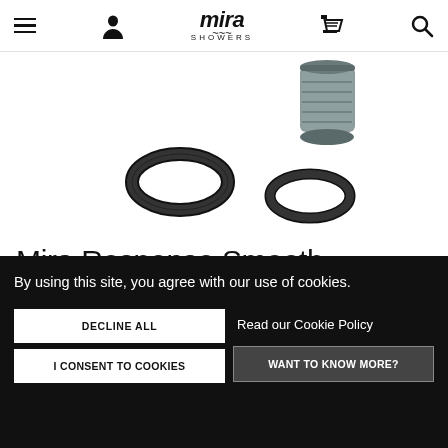Mira Showers navigation bar with menu, account, logo, cart, and search icons
[Figure (photo): Product photo showing Mira Response Smooth shower hose fittings and O-rings on white background]
Mira Response Smooth
By using this site, you agree with our use of cookies.
DECLINE ALL
Read our Cookie Policy
I CONSENT TO COOKIES
WANT TO KNOW MORE?